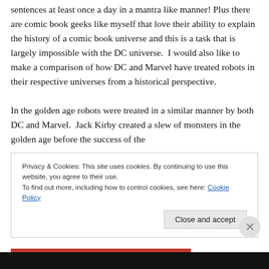sentences at least once a day in a mantra like manner! Plus there are comic book geeks like myself that love their ability to explain the history of a comic book universe and this is a task that is largely impossible with the DC universe.  I would also like to make a comparison of how DC and Marvel have treated robots in their respective universes from a historical perspective.
In the golden age robots were treated in a similar manner by both DC and Marvel.  Jack Kirby created a slew of monsters in the golden age before the success of the
Privacy & Cookies: This site uses cookies. By continuing to use this website, you agree to their use.
To find out more, including how to control cookies, see here: Cookie Policy
Close and accept